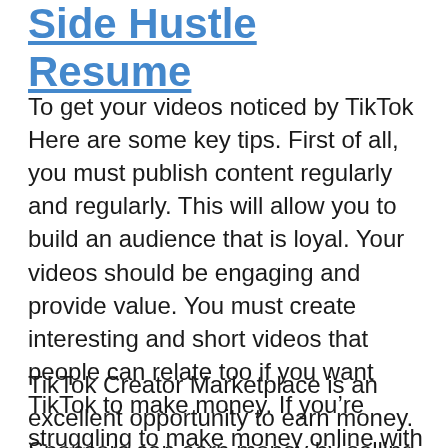Side Hustle Resume
To get your videos noticed by TikTok Here are some key tips. First of all, you must publish content regularly and regularly. This will allow you to build an audience that is loyal. Your videos should be engaging and provide value. You must create interesting and short videos that people can relate too if you want TikTok to make money. If you’re struggling to make money online with TikTok think about doing some research about your area of expertise and determine whether there are competitors operating there.
TikTok Creator Marketplace is an excellent opportunity to earn money. Sponsors can earn money by selling their content. All you